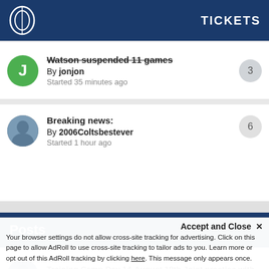TICKETS
Watson suspended 11 games
By jonjon
Started 35 minutes ago
Breaking news:
By 2006Coltsbestever
Started 1 hour ago
Posts
Training Camp Day 14-August 18th Joint practice with...
By TaylorTheStudMuffin · Posted 3 minutes ago
my concern
Accept and Close ✕
Your browser settings do not allow cross-site tracking for advertising. Click on this page to allow AdRoll to use cross-site tracking to tailor ads to you. Learn more or opt out of this AdRoll tracking by clicking here. This message only appears once.